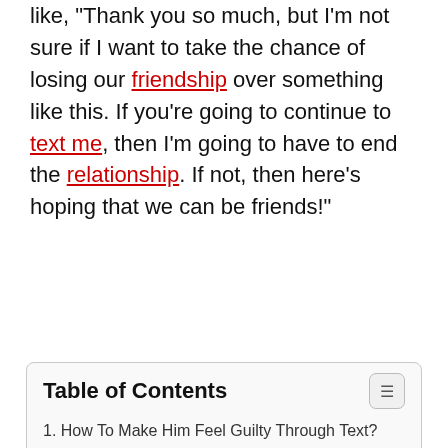like, "Thank you so much, but I'm not sure if I want to take the chance of losing our friendship over something like this. If you're going to continue to text me, then I'm going to have to end the relationship. If not, then here's hoping that we can be friends!"
| Table of Contents |
| 1. How To Make Him Feel Guilty Through Text? |
| 1.0.1. Also Read: The 10 Second Text That Will Make Him Smile For Hours |
| 2. 5 Ways You Secretly Punish Your Man |
| 2.1. 1. When he hangs out with a female friend |
| 2.2. 2. You're going to hang with your male |